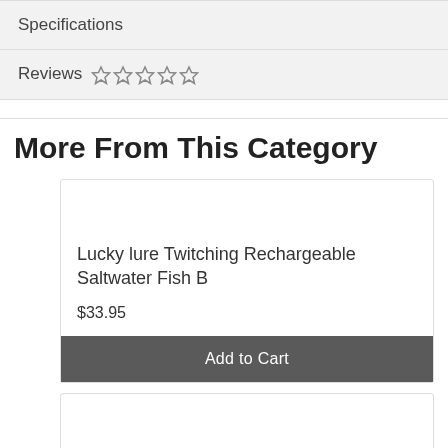Specifications
Reviews ☆ ☆ ☆ ☆ ☆
More From This Category
Lucky lure Twitching Rechargeable Saltwater Fish B
$33.95
Add to Cart
Bamboo Cutting Board: Chop it Like it's Hot 23cmx3
$19.95